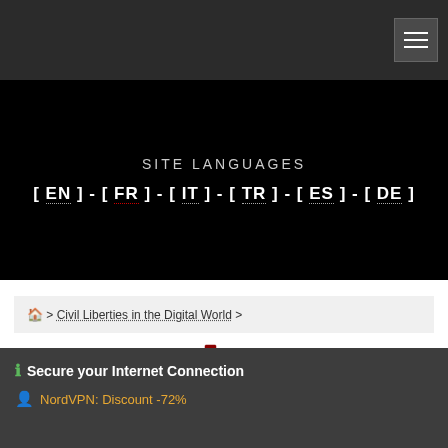Navigation header with hamburger menu
SITE LANGUAGES
[ EN ] - [ FR ] - [ IT ] - [ TR ] - [ ES ] - [ DE ]
🏠 > Civil Liberties in the Digital World >
🕐 Tuesday 27 February 2018 > français
[Figure (screenshot): NordVPN logo partially visible — blue circle shape and 'Nord' text in black on white background with blue border]
ℹ Secure your Internet Connection
NordVPN: Discount -72%